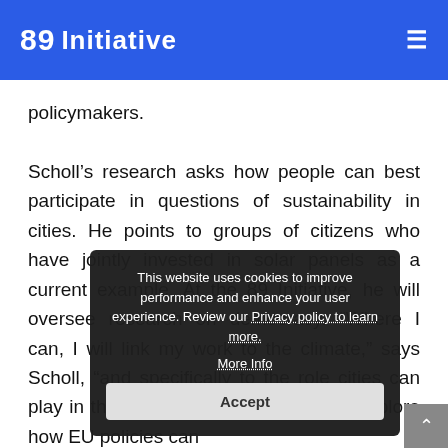89 Initiative
policymakers.
Scholl’s research asks how people can best participate in questions of sustainability in cities. He points to groups of citizens who have jointly invested in solar panels as a current example. At the 89 Initiative, he will oversee research on democracy. “Where I can, I will link my work to the climate,” says Scholl, “and specifically to the role cities can play in the energy transition. I want to explore how EU policies can
This website uses cookies to improve performance and enhance your user experience. Review our Privacy policy to learn more.
More Info
Accept